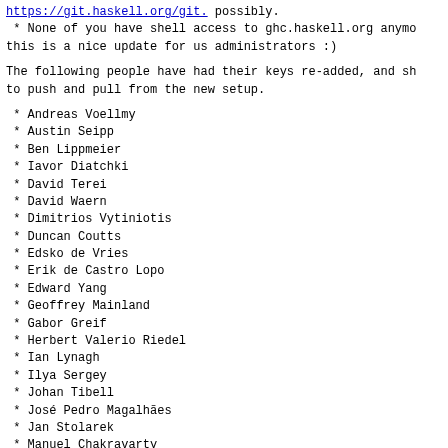https://git.haskell.org/git. possibly.
* None of you have shell access to ghc.haskell.org anymore, this is a nice update for us administrators :)
The following people have had their keys re-added, and should be able to push and pull from the new setup.
* Andreas Voellmy
* Austin Seipp
* Ben Lippmeier
* Iavor Diatchki
* David Terei
* David Waern
* Dimitrios Vytiniotis
* Duncan Coutts
* Edsko de Vries
* Erik de Castro Lopo
* Edward Yang
* Geoffrey Mainland
* Gabor Greif
* Herbert Valerio Riedel
* Ian Lynagh
* Ilya Sergey
* Johan Tibell
* José Pedro Magalhães
* Jan Stolarek
* Manuel Chakravarty
* Max Bolingbroke
* Nicholas Frisby
* Paolo Capriotti
* Richard Eisenberg